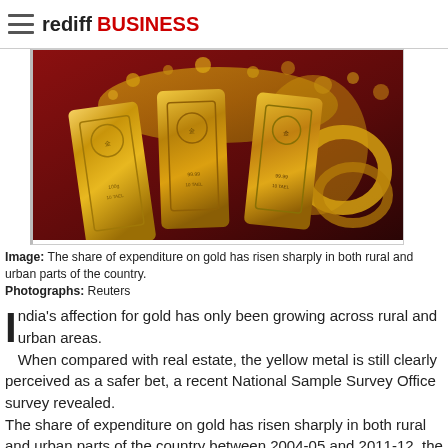rediff BUSINESS
[Figure (photo): Gold bars and jewelry on a red background — multiple stacked gold bars with Chinese/Japanese text and weight markings, surrounded by gold jewelry pieces.]
Image: The share of expenditure on gold has risen sharply in both rural and urban parts of the country. Photographs: Reuters
India's affection for gold has only been growing across rural and urban areas. When compared with real estate, the yellow metal is still clearly perceived as a safer bet, a recent National Sample Survey Office survey revealed. The share of expenditure on gold has risen sharply in both rural and urban parts of the country between 2004-05 and 2011-12, the survey shows. On the other hand, the spending trend on real estate in